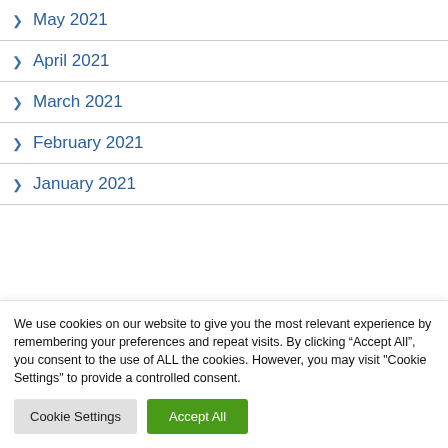May 2021
April 2021
March 2021
February 2021
January 2021
We use cookies on our website to give you the most relevant experience by remembering your preferences and repeat visits. By clicking “Accept All”, you consent to the use of ALL the cookies. However, you may visit "Cookie Settings" to provide a controlled consent.